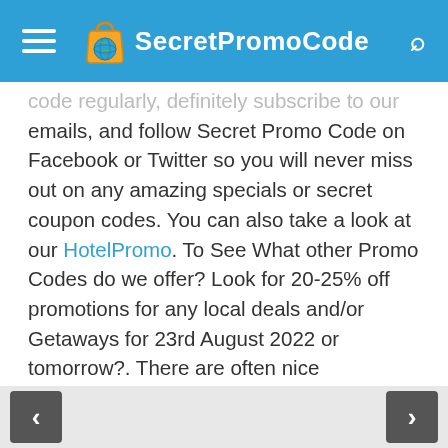SecretPromoCode
code regularly, definitely subscribe to our emails, and follow Secret Promo Code on Facebook or Twitter so you will never miss out on any amazing specials or secret coupon codes. You can also take a look at our HotelPromo. To See What other Promo Codes do we offer? Look for 20-25% off promotions for any local deals and/or Getaways for 23rd August 2022 or tomorrow?. There are often nice exclusions to those fresh offerings, so make sure that you will read the fine print. Occasionally there will also be a lot of targeted promotions available to certain Secret
< >